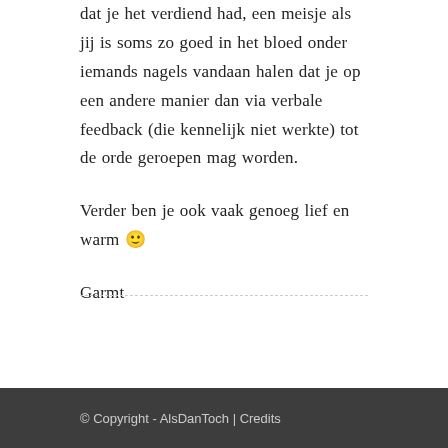dat je het verdiend had, een meisje als jij is soms zo goed in het bloed onder iemands nagels vandaan halen dat je op een andere manier dan via verbale feedback (die kennelijk niet werkte) tot de orde geroepen mag worden.
Verder ben je ook vaak genoeg lief en warm 🙂
Garmt
© Copyright - AlsDanToch | Credits